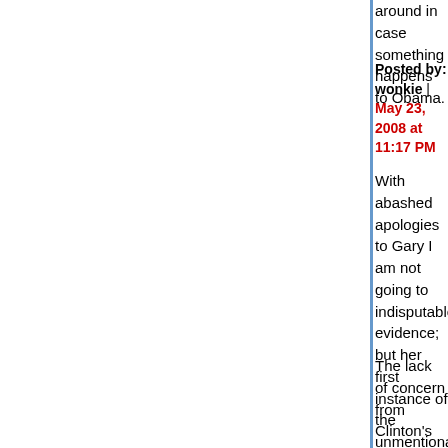around in case something happens to Obama.
Posted by: wonkie | May 23, 2008 at 11:17 PM
With abashed apologies to Gary I am not going to indisputable evidence; but her first instance of the unmentionable mention serves (arguable) that would have been not long between Obama and the Lost One. If true, the implication is that she's had The Idea ( for a bit of a while now. As what? Her out (and in) Of course I imagine we all recall such inchoate fe circles. I experienced them and am pretty sure su thread or two here. Notwithstanding and nonetheless LeftTurn's judg And the judgment is...tasteless and way over the
The lack of concern from Clinton's supporters, all grossly transgressive, puzzles me. The inference as reasonable and justified, or something else su politics, isn't it?' Either way, there's a really odd disconnect at wor If the lady's fans here can explain that, I and othe